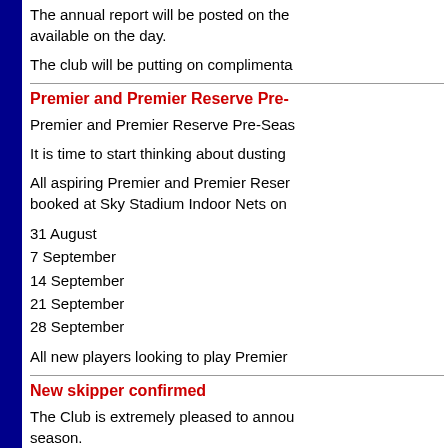The annual report will be posted on the available on the day.
The club will be putting on complimenta
Premier and Premier Reserve Pre-
Premier and Premier Reserve Pre-Seas
It is time to start thinking about dusting
All aspiring Premier and Premier Reser booked at Sky Stadium Indoor Nets on
31 August
7 September
14 September
21 September
28 September
All new players looking to play Premier
New skipper confirmed
The Club is extremely pleased to annou season.
We are delighted to be the of the